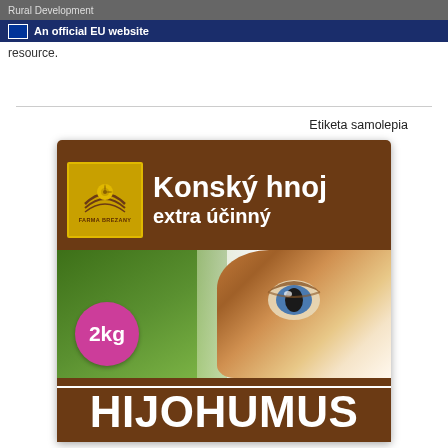Rural Development | An official EU website resource.
Etiketa samolepia
[Figure (photo): Product label for 'Konský hnoj extra účinný' (Horse manure extra effective) 2kg fertilizer by FARMA BREZANY brand HIJOHUMUS. Brown label with a horse eye close-up photo, 2kg pink badge, and brand logo.]